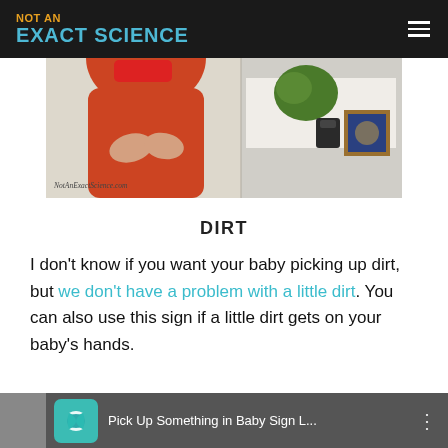NOT AN EXACT SCIENCE
[Figure (screenshot): Video screenshot showing a woman in a red top making a hand sign, with a shelf and decorative items visible in the right portion of the image. Watermark reads NotAnExactScience.com]
DIRT
I don't know if you want your baby picking up dirt, but we don't have a problem with a little dirt. You can also use this sign if a little dirt gets on your baby's hands.
[Figure (screenshot): Video thumbnail at bottom of page showing 'Pick Up Something in Baby Sign L...' with teal heart icon and three-dot menu]